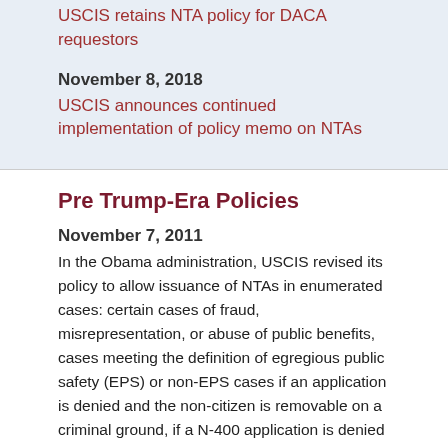USCIS retains NTA policy for DACA requestors
November 8, 2018
USCIS announces continued implementation of policy memo on NTAs
Pre Trump-Era Policies
November 7, 2011
In the Obama administration, USCIS revised its policy to allow issuance of NTAs in enumerated cases: certain cases of fraud, misrepresentation, or abuse of public benefits, cases meeting the definition of egregious public safety (EPS) or non-EPS cases if an application is denied and the non-citizen is removable on a criminal ground, if a N-400 application is denied on good moral character grounds based on a criminal offense and the non-citizen is